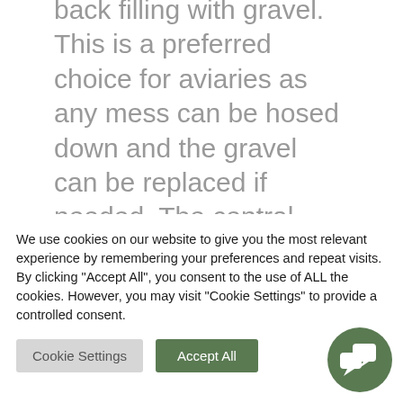back filling with gravel. This is a preferred choice for aviaries as any mess can be hosed down and the gravel can be replaced if needed. The central security entrance had a wipe clean floor – again allowing easy maintenance and providing a handy storage area for freezers, jesses & tethers and any other falconry
We use cookies on our website to give you the most relevant experience by remembering your preferences and repeat visits. By clicking "Accept All", you consent to the use of ALL the cookies. However, you may visit "Cookie Settings" to provide a controlled consent.